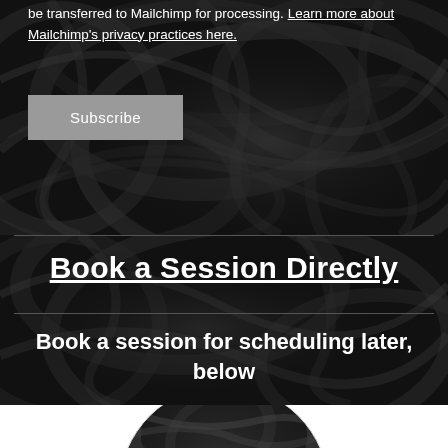be transferred to Mailchimp for processing. Learn more about Mailchimp's privacy practices here.
Subscribe
Book a Session Directly
Book a session for scheduling later, below
[Figure (photo): Dark abstract background with swirling metallic wire/cable textures, and partial circular image at bottom]